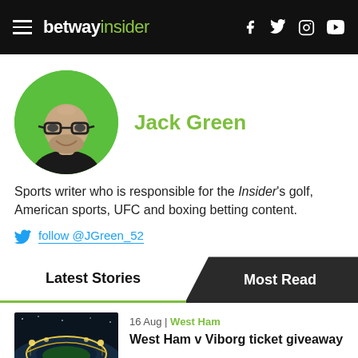betway insider
[Figure (photo): Circular profile photo of Jack Green on green background]
Jack Green
Sports writer who is responsible for the Insider's golf, American sports, UFC and boxing betting content.
follow @JGreen_52
Latest Stories
Most Read
[Figure (photo): Aerial night photo of a stadium (West Ham – London Stadium)]
16 Aug | West Ham
West Ham v Viborg ticket giveaway